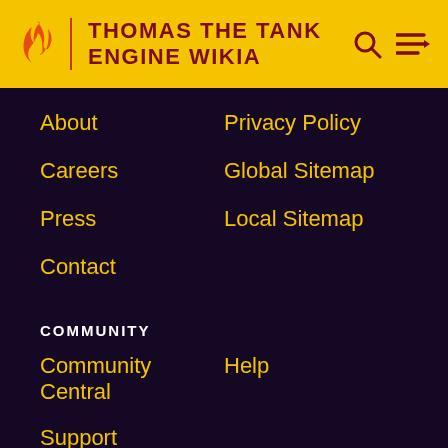THOMAS THE TANK ENGINE WIKIA
About
Privacy Policy
Careers
Global Sitemap
Press
Local Sitemap
Contact
COMMUNITY
Community Central
Help
Support
ADVERTISE
Media Kit